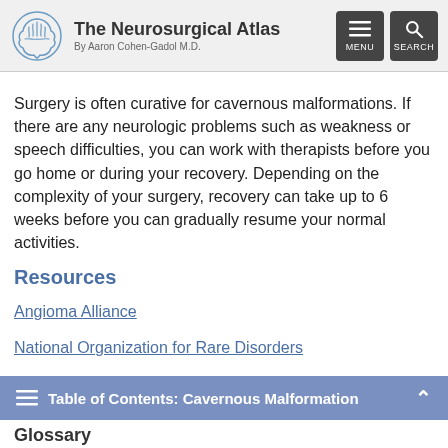The Neurosurgical Atlas — By Aaron Cohen-Gadol M.D.
Surgery is often curative for cavernous malformations. If there are any neurologic problems such as weakness or speech difficulties, you can work with therapists before you go home or during your recovery. Depending on the complexity of your surgery, recovery can take up to 6 weeks before you can gradually resume your normal activities.
Resources
Angioma Alliance
National Organization for Rare Disorders
Y...
Table of Contents: Cavernous Malformation
Glossary